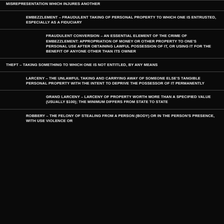MISREPRESENTATION WHICH INJURES ANOTHER
EMBEZZLEMENT – FRAUDULENT TAKING OF PERSONAL PROPERTY TO WHICH ONE IS ENTRUSTED, ESPECIALLY AS A FIDUCIARY
FRAUDULENT CONVERSION – AN ESSENTIAL ELEMENT OF THE CRIME OF EMBEZZLEMENT: APPROPRIATION OF MONEY OR OTHER PROPERTY TO ONE'S PERSONAL USE AFTER OBTAINING LAWFUL POSSESSION OF IT, OR USING IT FOR THE BENEFIT OF ANYONE OTHER THAN ITS OWNER
THEFT – TAKING SOMETHING TO WHICH ONE IS NOT ENTITLED, BY ANY MEANS
LARCENY – THE UNLAWFUL TAKING AND CARRYING AWAY OF SOMEONE ELSE'S TANGIBLE PERSONAL PROPERTY WITH THE INTENT TO DEPRIVE THE POSSESSOR OF IT PERMANENTLY
GRAND LARCENY – LARCENY OF PROPERTY WORTH MORE THAN A SPECIFIED VALUE (USUALLY $100); THE MINIMUM DIFFERS FROM STATE TO STATE
ROBBERY – THE FELONY OF STEALING FROM A PERSON (BODY) OR IN THE PERSON'S PRESENCE, WITH USE VIOLENCE OR